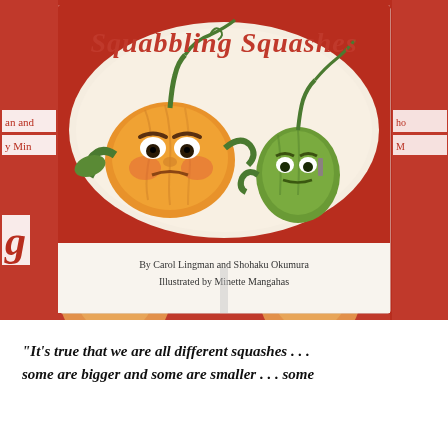[Figure (photo): A photograph showing multiple copies of a children's book titled 'Squabbling Squashes' by Carol Lingman and Shohaku Okumura, illustrated by Minette Mangahas. The front cover features animated squash characters (a pumpkin and a green squash) with angry expressions squabbling, against a red background. Additional copies of the book are visible behind and below.]
“It’s true that we are all different squashes . . . some are bigger and some are smaller . . . some